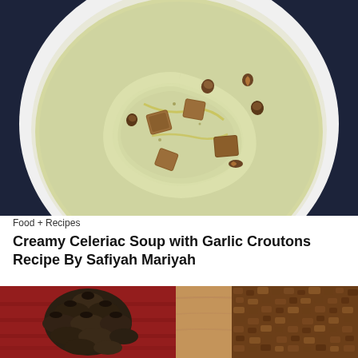[Figure (photo): Overhead view of a white bowl containing creamy celeriac soup with garlic croutons and hazelnuts on a dark navy blue background]
Food + Recipes
Creamy Celeriac Soup with Garlic Croutons Recipe By Safiyah Mariyah
[Figure (photo): Close-up of a pine cone on a red cloth next to a wooden board with a crumble-topped baked good]